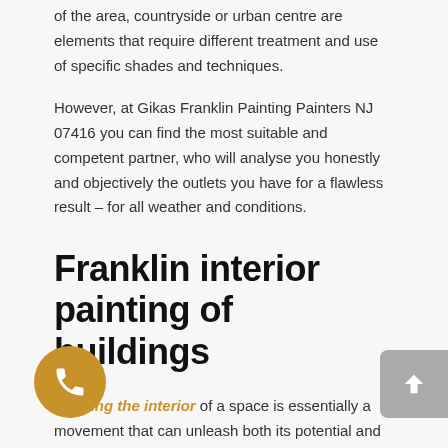of the area, countryside or urban centre are elements that require different treatment and use of specific shades and techniques.
However, at Gikas Franklin Painting Painters NJ 07416 you can find the most suitable and competent partner, who will analyse you honestly and objectively the outlets you have for a flawless result – for all weather and conditions.
Franklin interior painting of buildings
Painting the interior of a space is essentially a movement that can unleash both its potential and emotions of the people who live or work in it. In fact, it is only your mood that determines your choice.